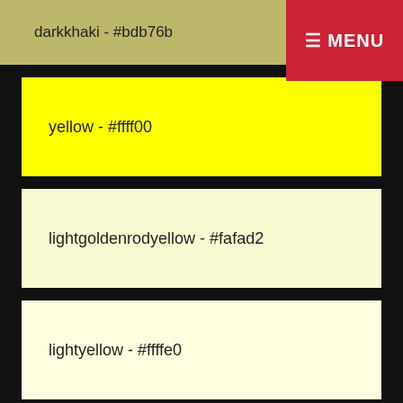darkkhaki - #bdb76b
≡ MENU
yellow - #ffff00
lightgoldenrodyellow - #fafad2
lightyellow - #ffffe0